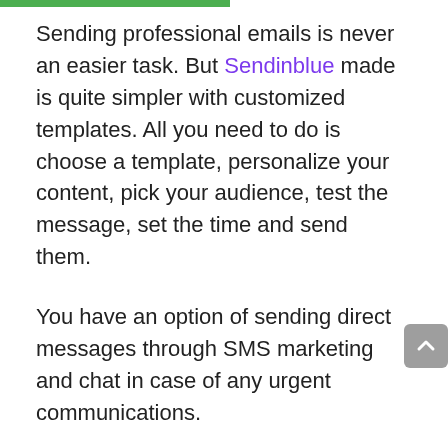Sending professional emails is never an easier task. But Sendinblue made is quite simpler with customized templates. All you need to do is choose a template, personalize your content, pick your audience, test the message, set the time and send them.
You have an option of sending direct messages through SMS marketing and chat in case of any urgent communications.
Build a healthy and strong relationship with your customers with the CRM. Set up CRM for your business, import your contact list, notes and any other data to your CRM profile, and organize your contacts based on the similarities or any other parameter. You can also track your